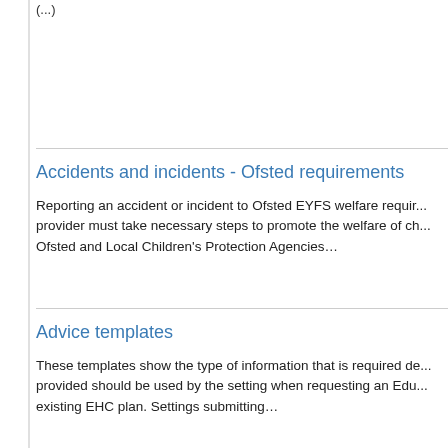(...)
Accidents and incidents - Ofsted requirements
Reporting an accident or incident to Ofsted EYFS welfare requir... provider must take necessary steps to promote the welfare of ch... Ofsted and Local Children's Protection Agencies…
Advice templates
These templates show the type of information that is required de... provided should be used by the setting when requesting an Edu... existing EHC plan. Settings submitting…
Bullying and harassment
Bullying can happen at any time and to any child, although it mo...